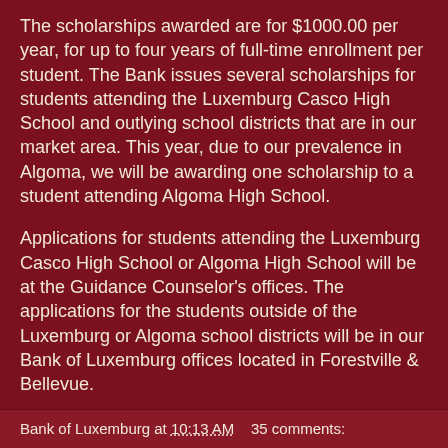The scholarships awarded are for $1000.00 per year, for up to four years of full-time enrollment per student.  The Bank issues several scholarships for students attending the Luxemburg Casco High School and outlying school districts that are in our market area.  This year, due to our prevalence in Algoma, we will be awarding one scholarship to a student attending Algoma High School.
Applications for students attending the Luxemburg Casco High School or Algoma High School will be at the Guidance Counselor's offices.  The applications for the students outside of the Luxemburg or Algoma school districts will be in our Bank of Luxembburg offices located in Forestville & Bellevue.
Applications should be submitted to:
Bank of Luxemburg
630 Main Street
Luxemburg, WI 54217
Bank of Luxemburg at 10:13 AM    35 comments: